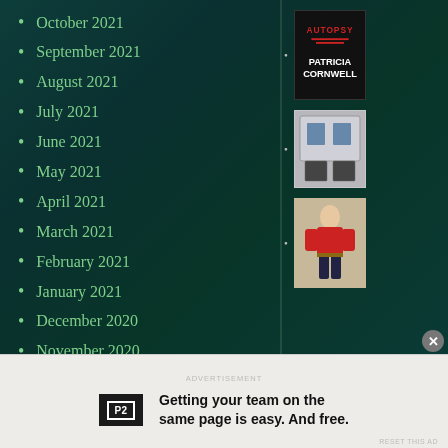October 2021
September 2021
August 2021
July 2021
June 2021
May 2021
April 2021
March 2021
February 2021
January 2021
December 2020
November 2020
October 2020
[Figure (photo): Book cover: Autopsy by Patricia Cornwell]
[Figure (photo): Game or collectible product in silver/grey packaging]
[Figure (photo): Action figure of a person in a red shirt]
Getting your team on the same page is easy. And free.